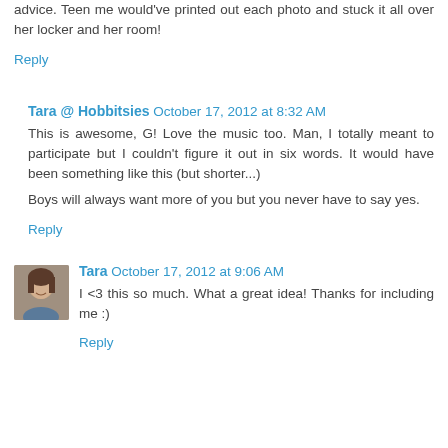advice. Teen me would've printed out each photo and stuck it all over her locker and her room!
Reply
Tara @ Hobbitsies October 17, 2012 at 8:32 AM
This is awesome, G! Love the music too. Man, I totally meant to participate but I couldn't figure it out in six words. It would have been something like this (but shorter...)
Boys will always want more of you but you never have to say yes.
Reply
Tara October 17, 2012 at 9:06 AM
I <3 this so much. What a great idea! Thanks for including me :)
Reply